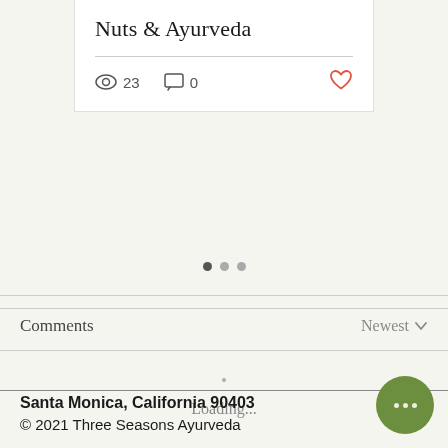Nuts & Ayurveda
23  0
Comments  Newest
Loading...
Santa Monica, California 90403
© 2021 Three Seasons Ayurveda